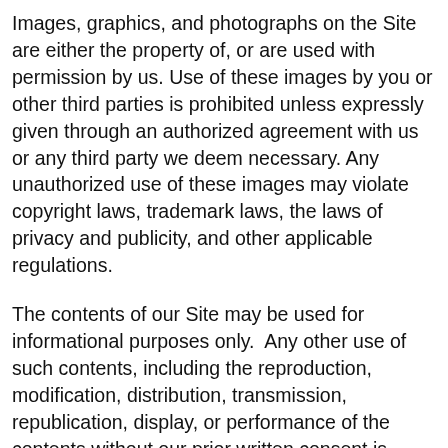Images, graphics, and photographs on the Site are either the property of, or are used with permission by us. Use of these images by you or other third parties is prohibited unless expressly given through an authorized agreement with us or any third party we deem necessary. Any unauthorized use of these images may violate copyright laws, trademark laws, the laws of privacy and publicity, and other applicable regulations.
The contents of our Site may be used for informational purposes only.  Any other use of such contents, including the reproduction, modification, distribution, transmission, republication, display, or performance of the contents without our prior written consent is expressly forbidden.